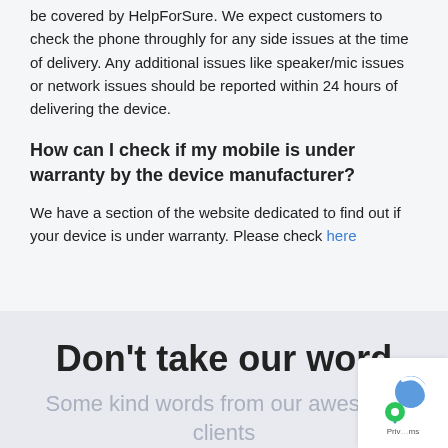be covered by HelpForSure. We expect customers to check the phone throughly for any side issues at the time of delivery. Any additional issues like speaker/mic issues or network issues should be reported within 24 hours of delivering the device.
How can I check if my mobile is under warranty by the device manufacturer?
We have a section of the website dedicated to find out if your device is under warranty. Please check here
Don't take our word
Some kind words from our awesome clients